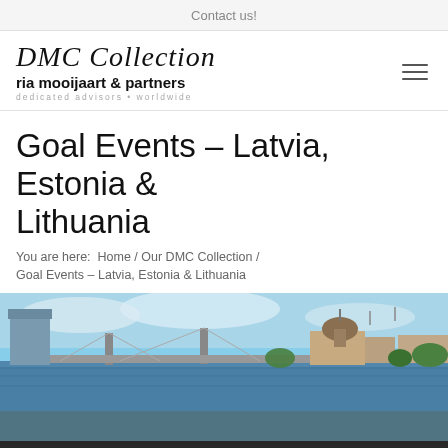Contact us!
[Figure (logo): DMC Collection logo with text 'ria mooijaart & partners' and 'dedicated advisors • worldwide']
Goal Events – Latvia, Estonia & Lithuania
You are here: Home / Our DMC Collection / Goal Events – Latvia, Estonia & Lithuania
[Figure (photo): Aerial panoramic photo of a Baltic city (likely Riga, Latvia) showing a wide river with bridges, city skyline including a large domed cathedral and modern buildings.]
Diese Seite verwendet Cookies. Durch die weitere Nutzung der Website stimmen Sie der Verwendung von Cookies zu.
OK   Erfahren Sie mehr
Goal Events is one of the most creative and experienced